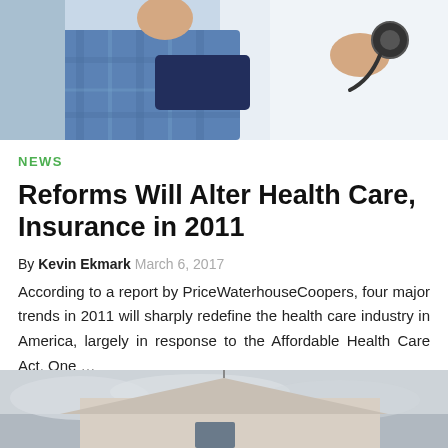[Figure (photo): Doctor taking blood pressure of a patient in a blue plaid shirt; doctor in white coat holds stethoscope]
NEWS
Reforms Will Alter Health Care, Insurance in 2011
By Kevin Ekmark March 6, 2017
According to a report by PriceWaterhouseCoopers, four major trends in 2011 will sharply redefine the health care industry in America, largely in response to the Affordable Health Care Act. One ...
[Figure (photo): Exterior of a house or building with a cloudy sky, partially cropped at bottom of page]